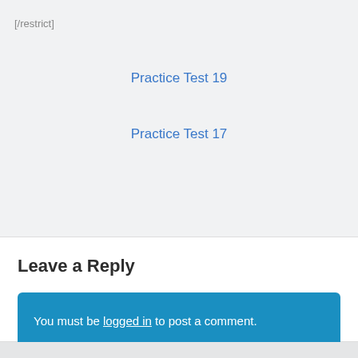[/restrict]
Practice Test 19
Practice Test 17
Leave a Reply
You must be logged in to post a comment.